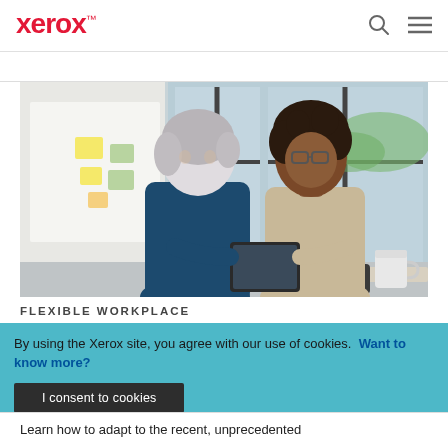Xerox™
[Figure (photo): Two women in an office setting looking at a tablet device together. One has short silver/grey hair and wears a dark navy top. The other has curly dark hair, wears glasses and a light beige sleeveless top. Background shows large windows, a whiteboard with sticky notes, and a white mug on a table.]
FLEXIBLE WORKPLACE
By using the Xerox site, you agree with our use of cookies. Want to know more?
I consent to cookies
Learn how to adapt to the recent, unprecedented